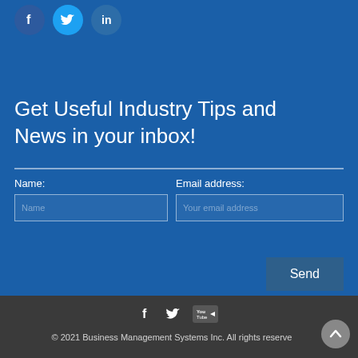[Figure (other): Social media icons: Facebook (circle), Twitter (circle), LinkedIn (circle) at top left on blue background]
Get Useful Industry Tips and News in your inbox!
Name:
Email address:
[Figure (other): Form input field with placeholder 'Name']
[Figure (other): Form input field with placeholder 'Your email address']
[Figure (other): Send button]
[Figure (other): Footer social icons: Facebook, Twitter, YouTube]
© 2021 Business Management Systems Inc. All rights reserve